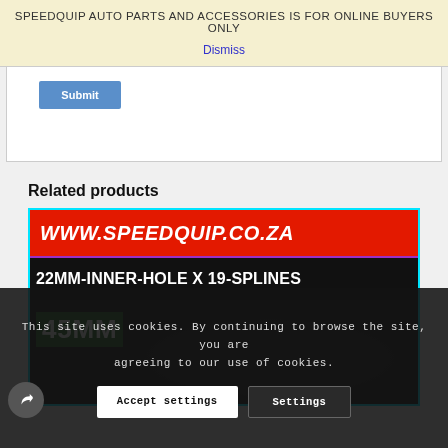SPEEDQUIP AUTO PARTS AND ACCESSORIES IS FOR ONLINE BUYERS ONLY
Dismiss
Submit
Related products
[Figure (screenshot): Product card showing WWW.SPEEDQUIP.CO.ZA on a red banner, then 22MM-INNER-HOLE X 19-SPLINES on a black bar, and 45MM label over a dark background image of a car part]
This site uses cookies. By continuing to browse the site, you are agreeing to our use of cookies.
Accept settings
Settings